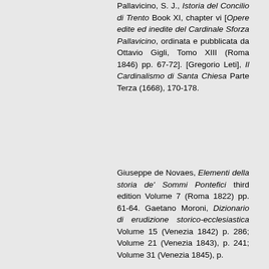Pallavicino, S. J., Istoria del Concilio di Trento Book XI, chapter vi [Opere edite ed inedite del Cardinale Sforza Pallavicino, ordinata e pubblicata da Ottavio Gigli, Tomo XIII (Roma 1846) pp. 67-72]. [Gregorio Leti], Il Cardinalismo di Santa Chiesa Parte Terza (1668), 170-178.
Giuseppe de Novaes, Elementi della storia de' Sommi Pontefici third edition Volume 7 (Roma 1822) pp. 61-64. Gaetano Moroni, Dizionario di erudizione storico-ecclesiastica Volume 15 (Venezia 1842) p. 286; Volume 21 (Venezia 1843), p. 241; Volume 31 (Venezia 1845), p.